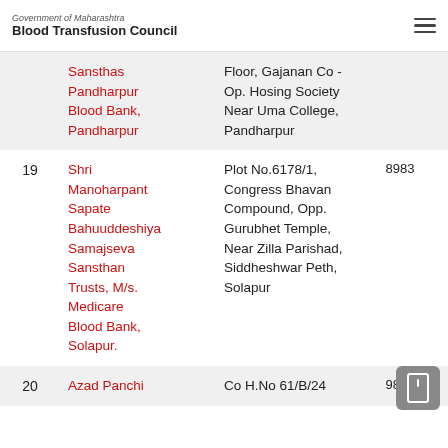Government of Maharashtra
Blood Transfusion Council
| # | Name | Address | Phone |
| --- | --- | --- | --- |
|  | Sansthas Pandharpur Blood Bank, Pandharpur | Floor, Gajanan Co - Op. Hosing Society Near Uma College, Pandharpur |  |
| 19 | Shri Manoharpant Sapate Bahuuddeshiya Samajseva Sansthan Trusts, M/s. Medicare Blood Bank, Solapur. | Plot No.6178/1, Congress Bhavan Compound, Opp. Gurubhet Temple, Near Zilla Parishad, Siddheshwar Peth, Solapur | 8983... |
| 20 | Azad Panchi | Co H.No 61/B/24 | 9850... |